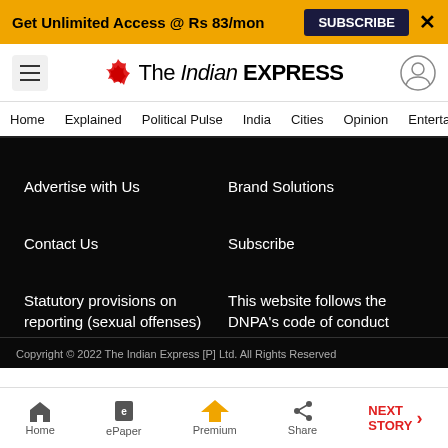Get Unlimited Access @ Rs 83/mon  SUBSCRIBE  X
[Figure (logo): The Indian Express logo with hamburger menu and user icon]
Home  Explained  Political Pulse  India  Cities  Opinion  Entertainment
Advertise with Us
Brand Solutions
Contact Us
Subscribe
Statutory provisions on reporting (sexual offenses)
This website follows the DNPA's code of conduct
CSR
Copyright © 2022 The Indian Express [P] Ltd. All Rights Reserved
Home  ePaper  Premium  Share  NEXT STORY